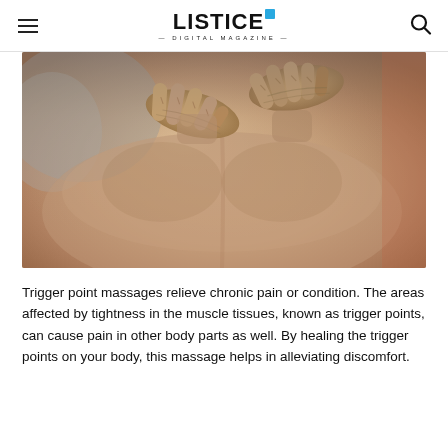LISTICE — DIGITAL MAGAZINE —
[Figure (photo): Close-up photo of a therapist's hands performing a trigger point massage on a person's bare back/shoulder area. The skin is warm-toned and the hands are pressing firmly into the muscle tissue.]
Trigger point massages relieve chronic pain or condition. The areas affected by tightness in the muscle tissues, known as trigger points, can cause pain in other body parts as well. By healing the trigger points on your body, this massage helps in alleviating discomfort.